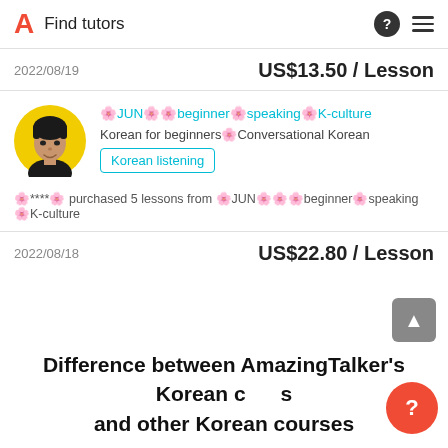Find tutors
2022/08/19   US$13.50 / Lesson
[Figure (photo): Circular profile photo of a young man against a yellow background]
🌸JUN🌸🌸beginner🌸speaking🌸K-culture
Korean for beginners🌸Conversational Korean
Korean listening
🌸****🌸 purchased 5 lessons from 🌸JUN🌸🌸🌸beginner🌸speaking🌸K-culture
2022/08/18   US$22.80 / Lesson
Difference between AmazingTalker's Korean courses and other Korean courses